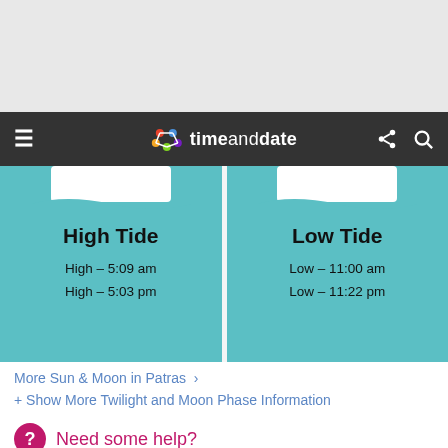[Figure (screenshot): Gray top area (advertisement or banner space)]
timeanddate navigation bar
[Figure (infographic): Two tide information cards side by side: High Tide card shows High – 5:09 am, High – 5:03 pm; Low Tide card shows Low – 11:00 am, Low – 11:22 pm]
More Sun & Moon in Patras >
+ Show More Twilight and Moon Phase Information
Need some help?
Tools & Converters